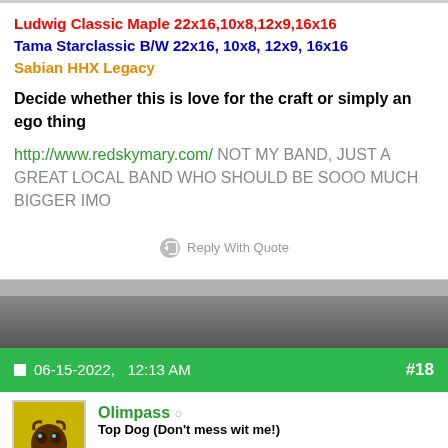Ludwig Classic Maple 22x16,10x8,12x9,16x16
Tama Starclassic B/W 22x16, 10x8, 12x9, 16x16
Sabian HHX Legacy
Decide whether this is love for the craft or simply an ego thing
http://www.redskymary.com/ NOT MY BAND, JUST A GREAT LOCAL BAND WHO SHOULD BE SOOO MUCH BIGGER IMO
Reply With Quote
06-15-2022,   12:13 AM   #18
Olimpass
Top Dog (Don't mess wit me!)